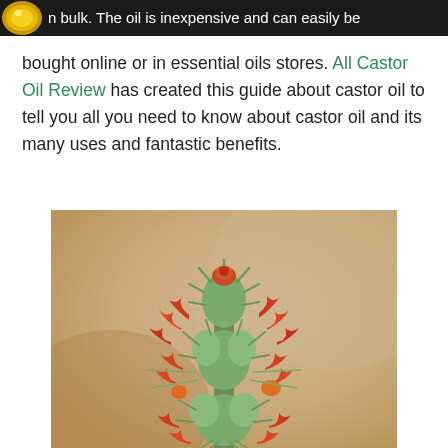n bulk. The oil is inexpensive and can easily be
bought online or in essential oils stores. All Castor Oil Review has created this guide about castor oil to tell you all you need to know about castor oil and its many uses and fantastic benefits.
[Figure (photo): Close-up photograph of a castor oil plant (Ricinus communis) showing spiky green seed pods and red/orange flowers against a blurred tan/beige background.]